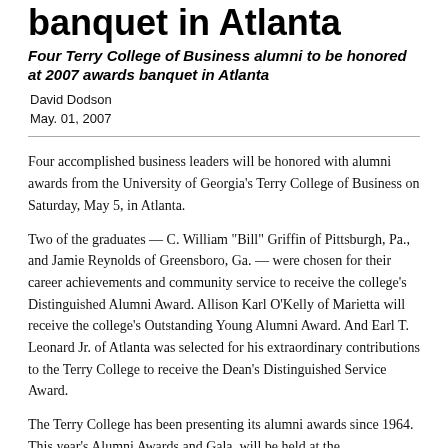banquet in Atlanta
Four Terry College of Business alumni to be honored at 2007 awards banquet in Atlanta
David Dodson
May. 01, 2007
Four accomplished business leaders will be honored with alumni awards from the University of Georgia's Terry College of Business on Saturday, May 5, in Atlanta.
Two of the graduates — C. William "Bill" Griffin of Pittsburgh, Pa., and Jamie Reynolds of Greensboro, Ga. — were chosen for their career achievements and community service to receive the college's Distinguished Alumni Award. Allison Karl O'Kelly of Marietta will receive the college's Outstanding Young Alumni Award. And Earl T. Leonard Jr. of Atlanta was selected for his extraordinary contributions to the Terry College to receive the Dean's Distinguished Service Award.
The Terry College has been presenting its alumni awards since 1964. This year's Alumni Awards and Gala, will be held at the